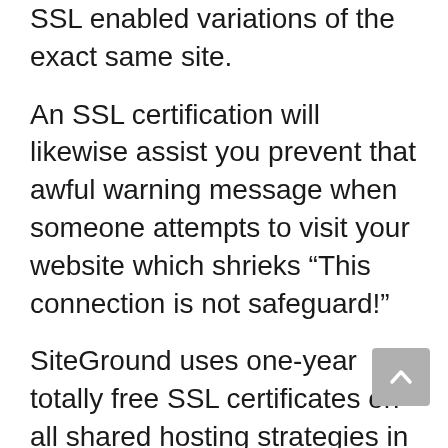SSL enabled variations of the exact same site.
An SSL certification will likewise assist you prevent that awful warning message when someone attempts to visit your website which shrieks “This connection is not safeguard!”
SiteGround uses one-year totally free SSL certificates on all shared hosting strategies in addition to annual discount rates on domain! So if you intend on buying an SSL safety and security certification make certain to check out their options prior to doing business in other places.
It includes a totally free web content